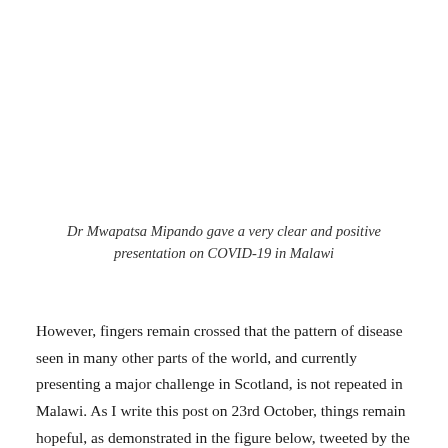Dr Mwapatsa Mipando gave a very clear and positive presentation on COVID-19 in Malawi
However, fingers remain crossed that the pattern of disease seen in many other parts of the world, and currently presenting a major challenge in Scotland, is not repeated in Malawi. As I write this post on 23rd October, things remain hopeful, as demonstrated in the figure below, tweeted by the Government of Malawi